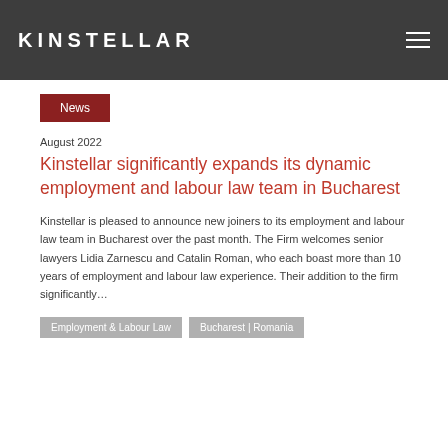KINSTELLAR
News
August 2022
Kinstellar significantly expands its dynamic employment and labour law team in Bucharest
Kinstellar is pleased to announce new joiners to its employment and labour law team in Bucharest over the past month. The Firm welcomes senior lawyers Lidia Zarnescu and Catalin Roman, who each boast more than 10 years of employment and labour law experience. Their addition to the firm significantly…
Employment & Labour Law   Bucharest | Romania